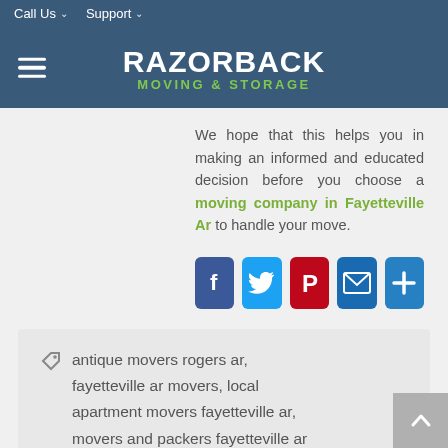Call Us   Support
[Figure (logo): Razorback Moving & Storage logo with hamburger menu icon on dark blue background]
We hope that this helps you in making an informed and educated decision before you choose a moving company in Fayetteville Ar to handle your move.
[Figure (infographic): Social share buttons: Facebook, Twitter, Pinterest, Email, Add (plus)]
antique movers rogers ar, fayetteville ar movers, local apartment movers fayetteville ar, movers and packers fayetteville ar